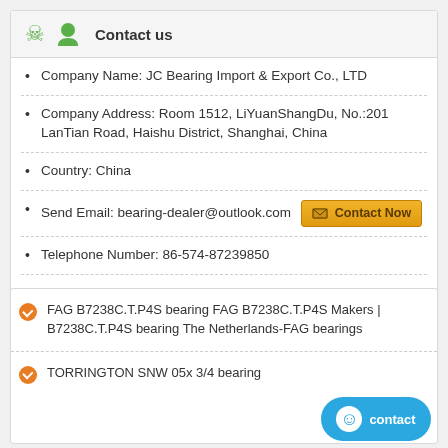Contact us
Company Name: JC Bearing Import & Export Co., LTD
Company Address: Room 1512, LiYuanShangDu, No.:201 LanTian Road, Haishu District, Shanghai, China
Country: China
Send Email: bearing-dealer@outlook.com  [Contact Now]
Telephone Number: 86-574-87239850
Fax Number: 86-574-87518260
Contact Person: April
FAG B7238C.T.P4S bearing FAG B7238C.T.P4S Makers | B7238C.T.P4S bearing The Netherlands-FAG bearings
TORRINGTON SNW 05x 3/4 bearing